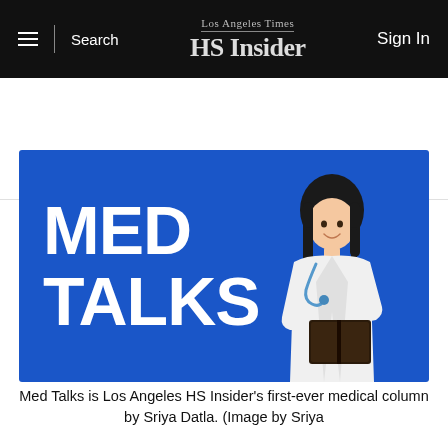Los Angeles Times HS Insider — Search | Sign In
About    Join
[Figure (illustration): Blue banner illustration reading 'MED TALKS' in large bold white letters with a doctor illustration on the right holding a book and wearing a white coat with stethoscope.]
Med Talks is Los Angeles HS Insider's first-ever medical column by Sriya Datla. (Image by Sriya